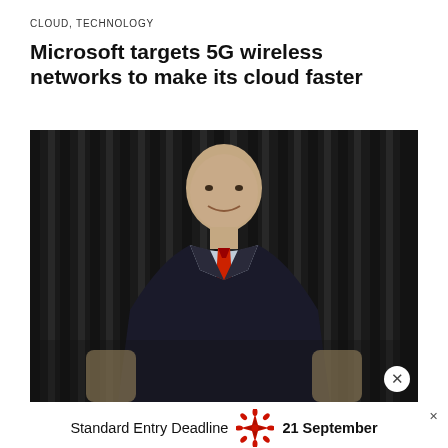CLOUD, TECHNOLOGY
Microsoft targets 5G wireless networks to make its cloud faster
[Figure (photo): A bald man in a dark suit and red tie seated in front of vertical striped dark background, smiling at the camera with hands folded.]
Standard Entry Deadline  21 September